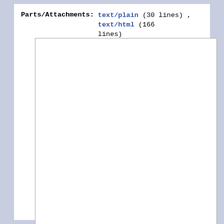Parts/Attachments: text/plain (30 lines) , text/html (166 lines)
[Figure (other): Empty white rectangular content frame with a thin gray border, representing a blank email body or attachment preview area.]